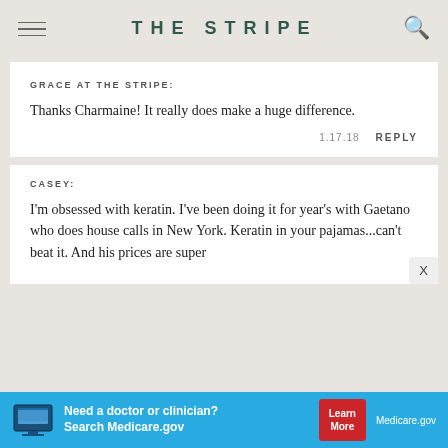THE STRIPE
GRACE AT THE STRIPE: Thanks Charmaine! It really does make a huge difference. 1.17.18 REPLY
CASEY: I'm obsessed with keratin. I've been doing it for year's with Gaetano who does house calls in New York. Keratin in your pajamas...can't beat it. And his prices are super
[Figure (screenshot): Medicare.gov advertisement banner: Need a doctor or clinician? Search Medicare.gov — Learn More button]